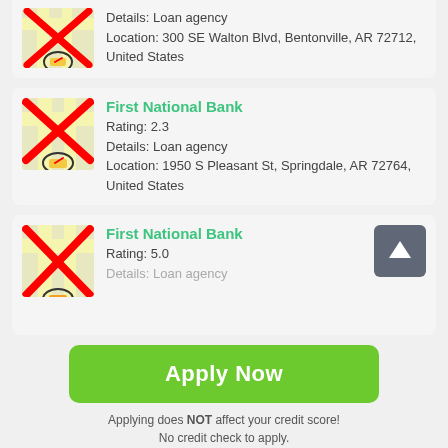[Figure (screenshot): Map thumbnail with red X overlay and speedometer icon, partially cropped at top]
Details: Loan agency
Location: 300 SE Walton Blvd, Bentonville, AR 72712, United States
[Figure (screenshot): Map thumbnail with red X overlay and speedometer icon]
First National Bank
Rating: 2.3
Details: Loan agency
Location: 1950 S Pleasant St, Springdale, AR 72764, United States
[Figure (screenshot): Map thumbnail with red X overlay and speedometer icon, partially cropped]
First National Bank
Rating: 5.0
Details: Loan agency
Apply Now
Applying does NOT affect your credit score!
No credit check to apply.